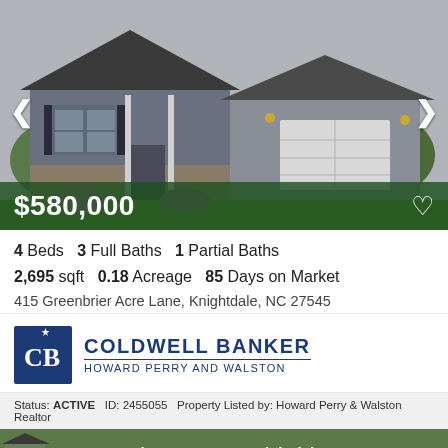[Figure (photo): Exterior rendering of a two-story gray house with white garage door, stone accents, and landscaping]
$580,000
4 Beds  3 Full Baths  1 Partial Baths
2,695 sqft  0.18 Acreage  85 Days on Market
415 Greenbrier Acre Lane, Knightdale, NC 27545
[Figure (logo): Coldwell Banker Howard Perry and Walston logo]
Status: ACTIVE  ID: 2455055  Property Listed by: Howard Perry & Walston Realtor
1617 Granite Acres Way, Knightdale, NC 27545
3 Beds  3 Full Baths  0 Partial Baths
2,693 sqft  0.20 Acreage  71 Days on Market